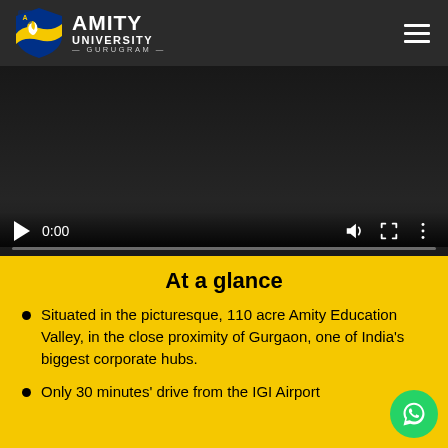[Figure (logo): Amity University Gurugram logo — shield emblem with flame on left, AMITY UNIVERSITY GURUGRAM text on right, on dark grey header bar with hamburger menu icon on the right]
[Figure (screenshot): Video player with dark background showing paused state at 0:00, with play button, time display, volume, fullscreen, and more-options icons, and a progress bar at the bottom]
At a glance
Situated in the picturesque, 110 acre Amity Education Valley, in the close proximity of Gurgaon, one of India's biggest corporate hubs.
Only 30 minutes' drive from the IGI Airport